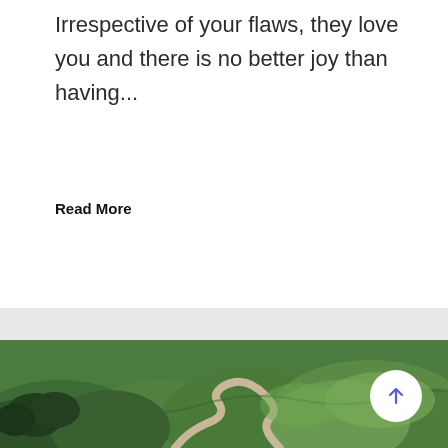Irrespective of your flaws, they love you and there is no better joy than having...
Read More
[Figure (photo): Aerial view of winding river through green rolling hills and valleys]